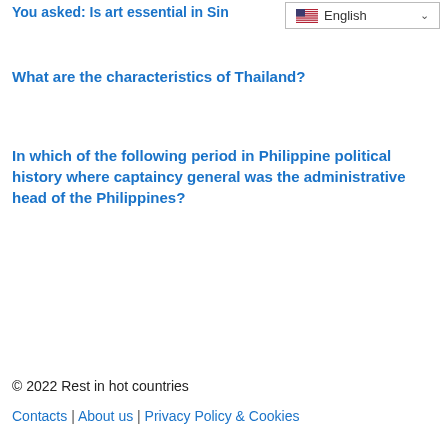You asked: Is art essential in Sin…
[Figure (screenshot): Language selector widget showing a US flag and 'English' with a dropdown chevron]
What are the characteristics of Thailand?
In which of the following period in Philippine political history where captaincy general was the administrative head of the Philippines?
© 2022 Rest in hot countries
Contacts | About us | Privacy Policy & Cookies
ATTENTION TO RIGHT HOLDERS! All materials are posted on the site strictly for informational and educational purposes! If you believe that the posting of any material infringes your copyright, be sure to contact us through the contact form and your material will be removed!